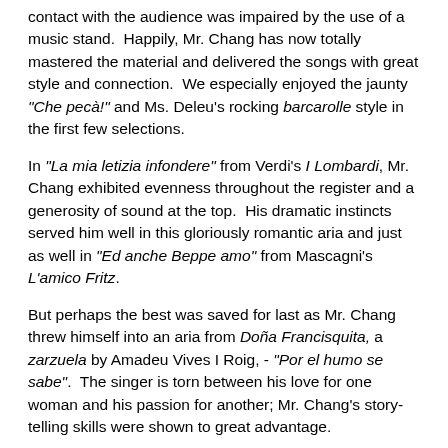contact with the audience was impaired by the use of a music stand.  Happily, Mr. Chang has now totally mastered the material and delivered the songs with great style and connection.  We especially enjoyed the jaunty "Che pecà!" and Ms. Deleu's rocking barcarolle style in the first few selections.
In "La mia letizia infondere" from Verdi's I Lombardi, Mr. Chang exhibited evenness throughout the register and a generosity of sound at the top.  His dramatic instincts served him well in this gloriously romantic aria and just as well in "Ed anche Beppe amo" from Mascagni's L'amico Fritz.
But perhaps the best was saved for last as Mr. Chang threw himself into an aria from Doña Francisquita, a zarzuela by Amadeu Vives I Roig, - "Por el humo se sabe".  The singer is torn between his love for one woman and his passion for another; Mr. Chang's story-telling skills were shown to great advantage.
"Sin tu amor" by Miguel Sandoval was delivered with intensity and a flamenco inflection.